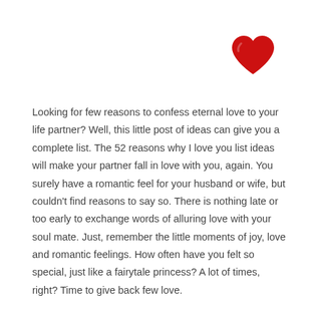[Figure (illustration): A red heart icon positioned in the upper right area of the page]
Looking for few reasons to confess eternal love to your life partner? Well, this little post of ideas can give you a complete list. The 52 reasons why I love you list ideas will make your partner fall in love with you, again. You surely have a romantic feel for your husband or wife, but couldn't find reasons to say so. There is nothing late or too early to exchange words of alluring love with your soul mate. Just, remember the little moments of joy, love and romantic feelings. How often have you felt so special, just like a fairytale princess? A lot of times, right? Time to give back few love.
Isn't her smile just perfect? You definitely love the way she cares